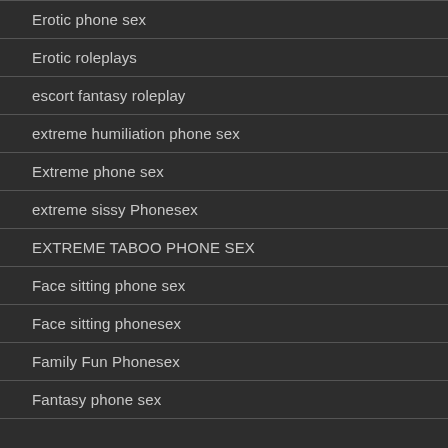Erotic phone sex
Erotic roleplays
escort fantasy roleplay
extreme humiliation phone sex
Extreme phone sex
extreme sissy Phonesex
EXTREME TABOO PHONE SEX
Face sitting phone sex
Face sitting phonesex
Family Fun Phonesex
Fantasy phone sex